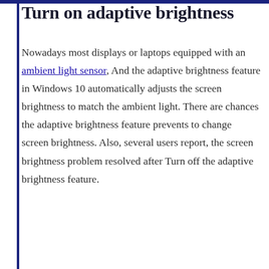Turn on adaptive brightness
Nowadays most displays or laptops equipped with an ambient light sensor, And the adaptive brightness feature in Windows 10 automatically adjusts the screen brightness to match the ambient light. There are chances the adaptive brightness feature prevents to change screen brightness. Also, several users report, the screen brightness problem resolved after Turn off the adaptive brightness feature.